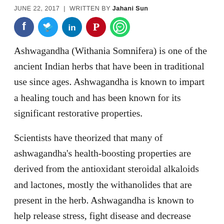JUNE 22, 2017  |  WRITTEN BY Jahani Sun
[Figure (illustration): Social media sharing icons: Facebook (blue), Twitter (light blue), LinkedIn (blue), Pinterest (red), WhatsApp (green)]
Ashwagandha (Withania Somnifera) is one of the ancient Indian herbs that have been in traditional use since ages. Ashwagandha is known to impart a healing touch and has been known for its significant restorative properties.
Scientists have theorized that many of ashwagandha's health-boosting properties are derived from the antioxidant steroidal alkaloids and lactones, mostly the withanolides that are present in the herb. Ashwagandha is known to help release stress, fight disease and decrease levels of stress hormones and support weight loss by acting as a natural adaptogen in the body.